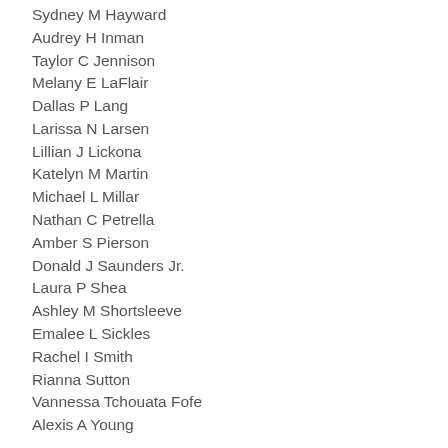Sydney M Hayward
Audrey H Inman
Taylor C Jennison
Melany E LaFlair
Dallas P Lang
Larissa N Larsen
Lillian J Lickona
Katelyn M Martin
Michael L Millar
Nathan C Petrella
Amber S Pierson
Donald J Saunders Jr.
Laura P Shea
Ashley M Shortsleeve
Emalee L Sickles
Rachel I Smith
Rianna Sutton
Vannessa Tchouata Fofe
Alexis A Young